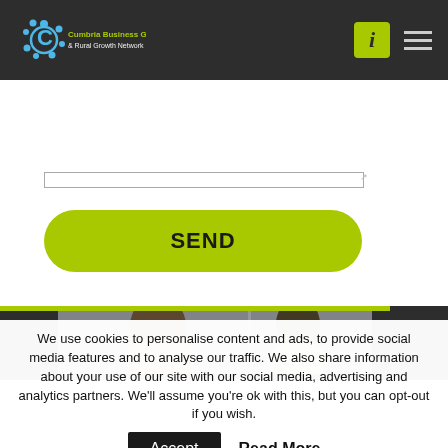Cumbria Business Growth Hub & Rural Growth Network
[Figure (screenshot): SEND button (yellow-green rounded rectangle) on a white form page]
[Figure (photo): Two people visible in a dark footer band section]
We use cookies to personalise content and ads, to provide social media features and to analyse our traffic. We also share information about your use of our site with our social media, advertising and analytics partners. We'll assume you're ok with this, but you can opt-out if you wish.
Accept
Read More